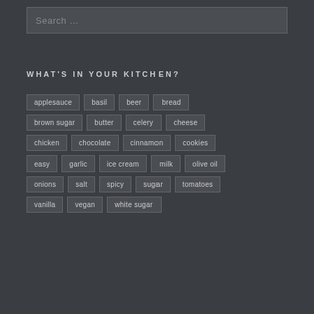Search ...
WHAT'S IN YOUR KITCHEN?
applesauce
basil
beer
bread
brown sugar
butter
celery
cheese
chicken
chocolate
cinnamon
cookies
easy
garlic
ice cream
milk
olive oil
onions
salt
spicy
sugar
tomatoes
vanilla
vegan
white sugar